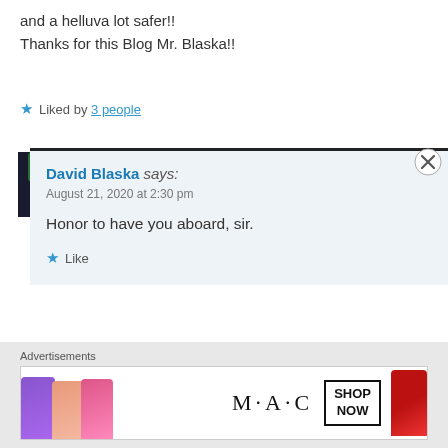and a helluva lot safer!!
Thanks for this Blog Mr. Blaska!!
★ Liked by 3 people
David Blaska says:
August 21, 2020 at 2:30 pm
Honor to have you aboard, sir.
★ Like
Advertisements
[Figure (photo): MAC cosmetics advertisement banner showing lipsticks in purple, peach, pink colors, MAC logo, SHOP NOW box, and red lipstick on right]